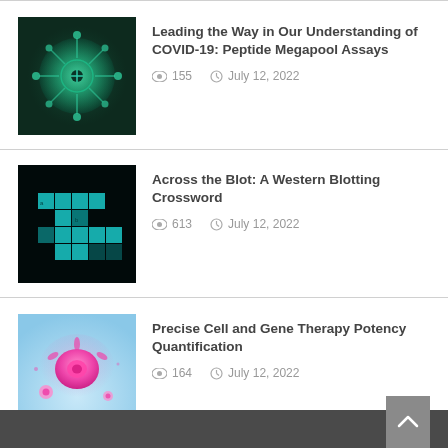[Figure (illustration): Thumbnail image: green glowing coronavirus illustration on dark background]
Leading the Way in Our Understanding of COVID-19: Peptide Megapool Assays
155   July 12, 2022
[Figure (illustration): Thumbnail image: crossword puzzle grid in teal/cyan on black background representing western blotting]
Across the Blot: A Western Blotting Crossword
613   July 12, 2022
[Figure (illustration): Thumbnail image: cell biology illustration with pink glowing cell on light blue background]
Precise Cell and Gene Therapy Potency Quantification
164   July 12, 2022